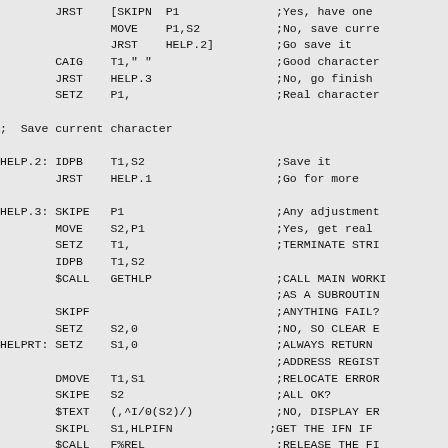Assembly code listing showing HELP.2 and HELP.3 subroutines with labels, instructions, operands, and inline comments